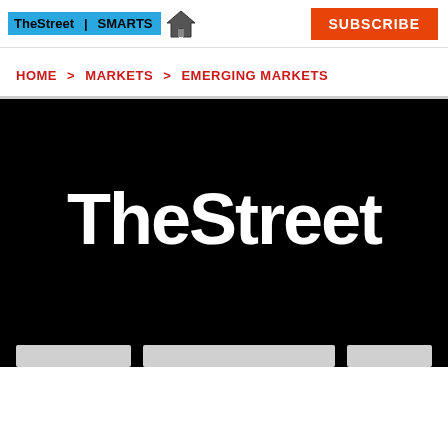TheStreet | SMARTS [logo with house icon] | SUBSCRIBE button
HOME > MARKETS > EMERGING MARKETS
[Figure (logo): TheStreet logo in white text on black background, with three gray bars at the bottom]